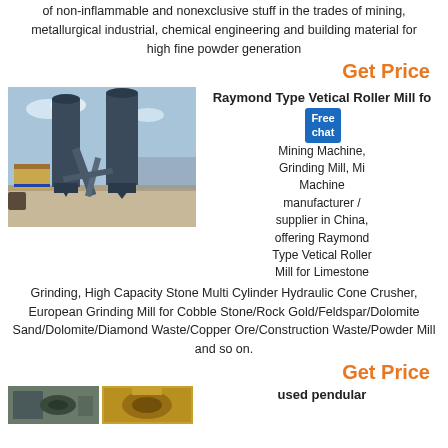of non-inflammable and nonexclusive stuff in the trades of mining, metallurgical industrial, chemical engineering and building material for high fine powder generation
Get Price
[Figure (photo): Industrial grinding mill facility with large silos and conveyor equipment outdoors]
Raymond Type Vetical Roller Mill for Mining Machine, Grinding Mill, Mining Machine manufacturer / supplier in China, offering Raymond Type Vetical Roller Mill for Limestone Grinding, High Capacity Stone Multi Cylinder Hydraulic Cone Crusher, European Grinding Mill for Cobble Stone/Rock Gold/Feldspar/Dolomite Sand/Dolomite/Diamond Waste/Copper Ore/Construction Waste/Powder Mill and so on.
Get Price
[Figure (photo): Two small thumbnail images of mining/grinding machinery]
used pendular